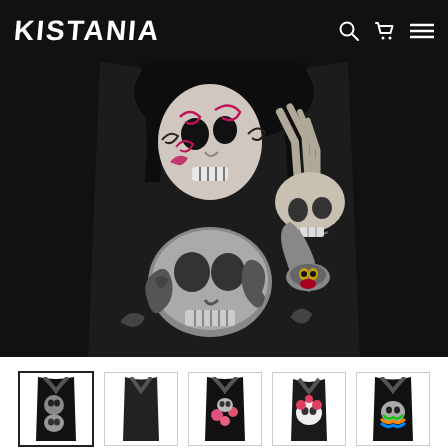KISTANIA
[Figure (photo): Close-up of a black tank top with a Day of the Dead sugar skull woman graphic — woman with sugar skull face makeup kissing a skeleton, holding a large skull, with tattoo-style artwork and floral design, on dark background.]
[Figure (photo): Product thumbnail gallery showing five tank top variants: (1) skull/sugar skull dark design (selected/highlighted), (2) plain black tank, (3) floral sugar skull design, (4) floral skull on white background, (5) colorful skull design.]